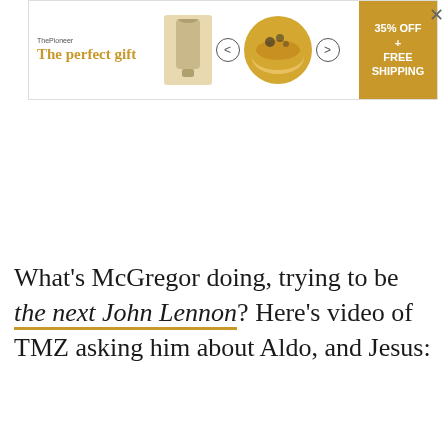[Figure (other): Advertisement banner: 'The perfect gift' with cookware images, navigation arrows, and '35% OFF + FREE SHIPPING' in gold, with a close (X) button]
What's McGregor doing, trying to be the next John Lennon? Here's video of TMZ asking him about Aldo, and Jesus: